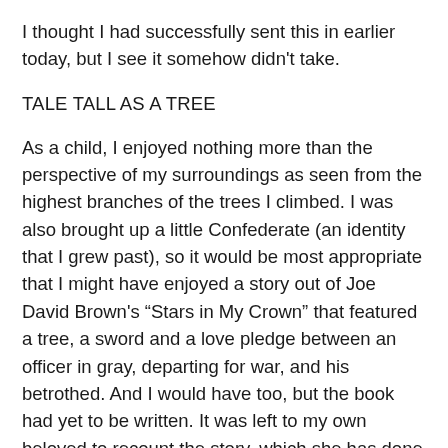I thought I had successfully sent this in earlier today, but I see it somehow didn't take.
TALE TALL AS A TREE
As a child, I enjoyed nothing more than the perspective of my surroundings as seen from the highest branches of the trees I climbed. I was also brought up a little Confederate (an identity that I grew past), so it would be most appropriate that I might have enjoyed a story out of Joe David Brown's “Stars in My Crown” that featured a tree, a sword and a love pledge between an officer in gray, departing for war, and his betrothed. And I would have too, but the book had yet to be written. It was left to my own beloved to recount the story, which she has done